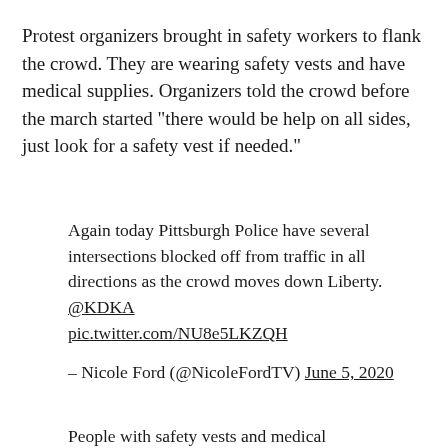Protest organizers brought in safety workers to flank the crowd. They are wearing safety vests and have medical supplies. Organizers told the crowd before the march started "there would be help on all sides, just look for a safety vest if needed."
Again today Pittsburgh Police have several intersections blocked off from traffic in all directions as the crowd moves down Liberty. @KDKA pic.twitter.com/NU8e5LKZQH
– Nicole Ford (@NicoleFordTV) June 5, 2020
People with safety vests and medical